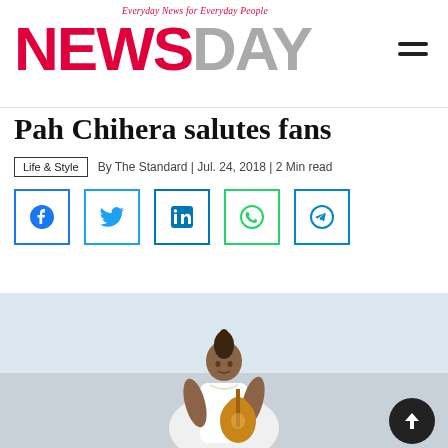Everyday News for Everyday People — NewsDay
Pah Chihera salutes fans
Life & Style | By The Standard | Jul. 24, 2018 | 2 Min read
[Figure (screenshot): Social media share buttons: Facebook, Twitter, LinkedIn, WhatsApp, Telegram]
[Figure (photo): Photo of Pah Chihera, a young woman in a white dress holding a guitar, light background]